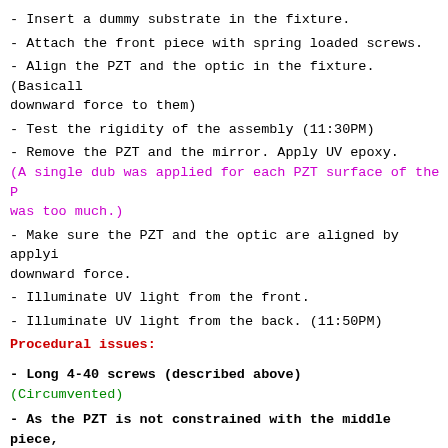- Insert a dummy substrate in the fixture.
- Attach the front piece with spring loaded screws.
- Align the PZT and the optic in the fixture. (Basically downward force to them)
- Test the rigidity of the assembly (11:30PM)
- Remove the PZT and the mirror. Apply UV epoxy. (A single dub was applied for each PZT surface of the P was too much.)
- Make sure the PZT and the optic are aligned by applying downward force.
- Illuminate UV light from the front.
- Illuminate UV light from the back. (11:50PM)
Procedural issues:
- Long 4-40 screws (described above)
(Circumvented)
- As the PZT is not constrained with the middle piece, move vertically and rotationally because of the wire tension. (This is not a mistake but so that the PZT is constrained by the optic.) Therefore after applying glue on the PZT, the motion of